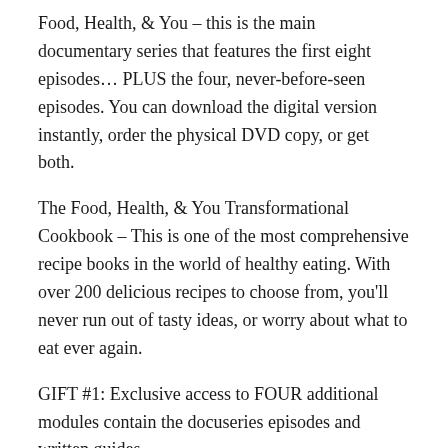Food, Health, & You – this is the main documentary series that features the first eight episodes… PLUS the four, never-before-seen episodes. You can download the digital version instantly, order the physical DVD copy, or get both.
The Food, Health, & You Transformational Cookbook – This is one of the most comprehensive recipe books in the world of healthy eating. With over 200 delicious recipes to choose from, you'll never run out of tasty ideas, or worry about what to eat ever again.
GIFT #1: Exclusive access to FOUR additional modules contain the docuseries episodes and written guides
GIFT #2: The Top 77 Superfoods for Healing
This is your once-in-a-lifetime opportunity to try this amazing system that's backed by our 60-day, 100% money back guarantee!